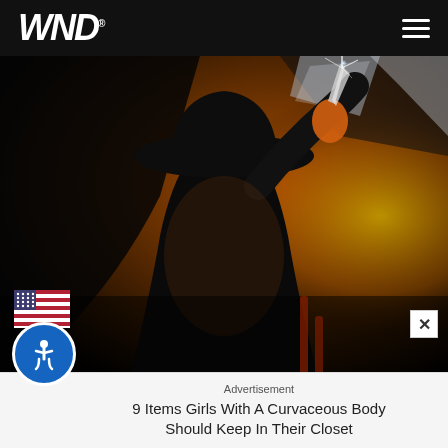WND
[Figure (photo): Dark, dramatic image of a silhouetted figure wearing a wide-brimmed hat, holding a knife that catches a bright light flare. Background has orange and yellow glowing hues and shattered mirror/glass reflections.]
Advertisement
9 Items Girls With A Curvaceous Body Should Keep In Their Closet